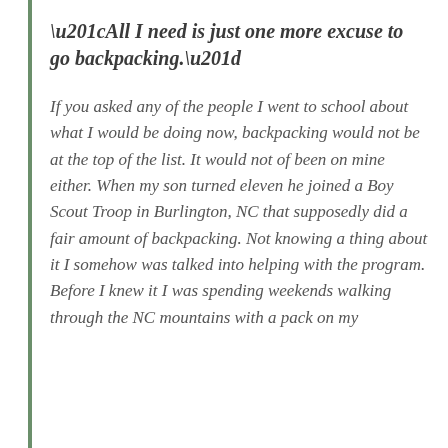“All I need is just one more excuse to go backpacking.”
If you asked any of the people I went to school about what I would be doing now, backpacking would not be at the top of the list. It would not of been on mine either. When my son turned eleven he joined a Boy Scout Troop in Burlington, NC that supposedly did a fair amount of backpacking. Not knowing a thing about it I somehow was talked into helping with the program. Before I knew it I was spending weekends walking through the NC mountains with a pack on my